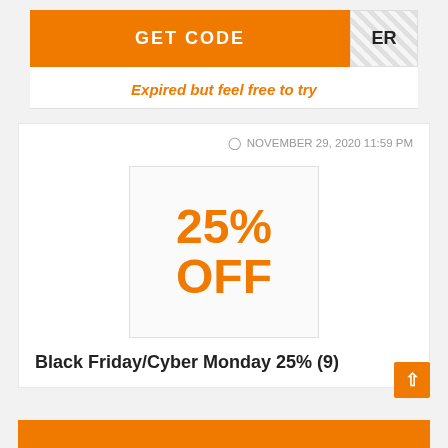GET CODE
ER
Expired but feel free to try
NOVEMBER 29, 2020 11:59 PM
[Figure (other): Box showing 25% OFF discount label]
Black Friday/Cyber Monday 25% (9)